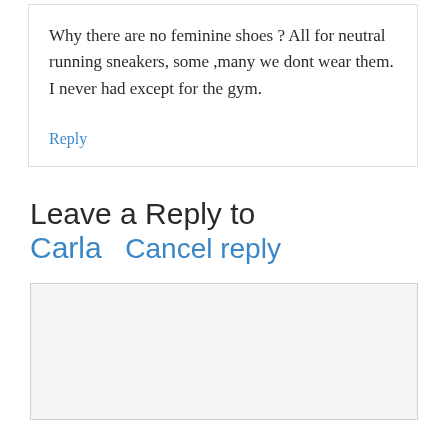Why there are no feminine shoes ? All for neutral running sneakers, some ,many we dont wear them.
I never had except for the gym.
Reply
Leave a Reply to Carla  Cancel reply
[Figure (other): Empty comment textarea input box with light gray background]